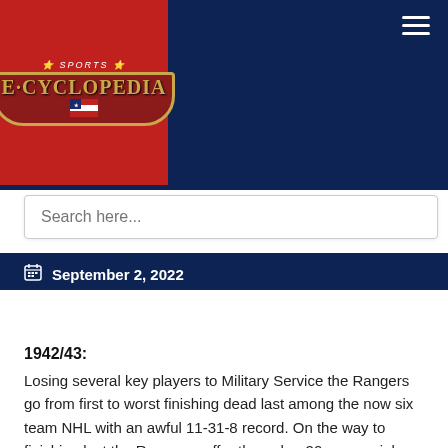[Figure (logo): Sports E-Cyclopedia logo on red background with shield design and gold border]
Search here...
September 2, 2022
However, in the semifinals the Rangers are stained by the Leafs in six games.
1942/43:
Losing several key players to Military Service the Rangers go from first to worst finishing dead last among the now six team NHL with an awful 11-31-8 record. On the way to finishing last the Rangers suffer through a 20-game winless streak.
1943/44: